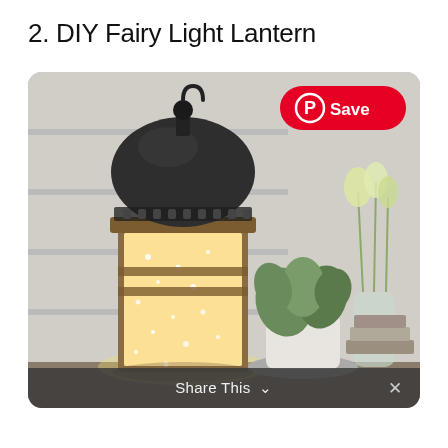2. DIY Fairy Light Lantern
[Figure (photo): A decorative wooden and metal lantern filled with warm fairy lights, placed next to two potted plants on a shelf, with a Pinterest 'Save' button overlay in the top right corner.]
Share This ∨  ✕